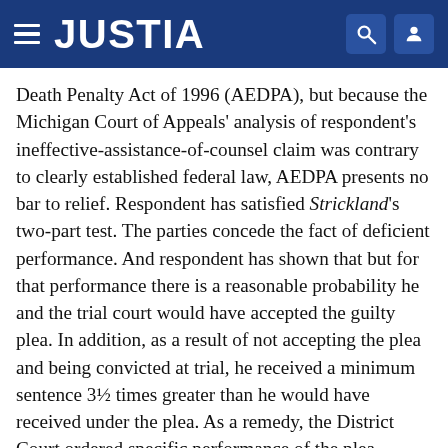JUSTIA
Death Penalty Act of 1996 (AEDPA), but because the Michigan Court of Appeals' analysis of respondent's ineffective-assistance-of-counsel claim was contrary to clearly established federal law, AEDPA presents no bar to relief. Respondent has satisfied Strickland's two-part test. The parties concede the fact of deficient performance. And respondent has shown that but for that performance there is a reasonable probability he and the trial court would have accepted the guilty plea. In addition, as a result of not accepting the plea and being convicted at trial, he received a minimum sentence 3½ times greater than he would have received under the plea. As a remedy, the District Court ordered specific performance of the plea agreement, but the correct remedy is to order the State to reoffer the plea. If respondent accepts the offer, the state trial court can